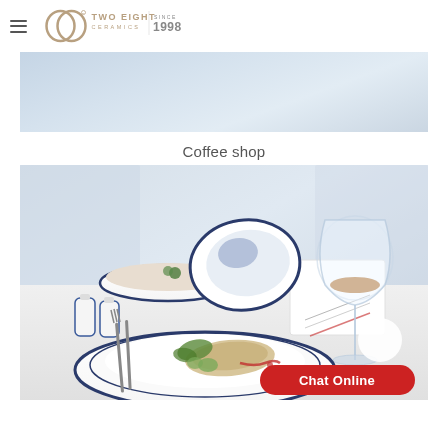[Figure (logo): Two Eight Ceramics logo with hamburger menu icon, swirl/infinity emblem, text 'TWO EIGHT CERAMICS', and 'SINCE 1998']
[Figure (photo): Partial banner image with blurred soft blue-grey background (curtain/window scene)]
Coffee shop
[Figure (photo): Product photo showing white ceramic dinnerware with dark blue rim: a flat dinner plate with food (fish fillet, greens, zucchini), a tilted bowl, a soup bowl with cream soup and parsley, two salt/pepper shakers, a square plate with a wine glass containing red wine, on a white table setting. A red 'Chat Online' button and white circle icon overlay the bottom-right of the image.]